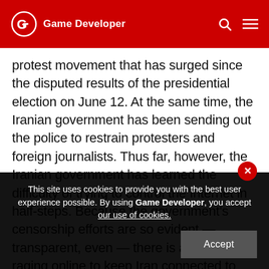Game Developer
protest movement that has surged since the disputed results of the presidential election on June 12. At the same time, the Iranian government has been sending out the police to restrain protesters and foreign journalists. Thus far, however, the Iranian government has learned the difficulty of trying to control the Internet in half-steps. Because the government's censorship efforts are so evident — transparent, even — there is a battle raging online to keep Iran connected to the world digitally, and
This site uses cookies to provide you with the best user experience possible. By using Game Developer, you accept our use of cookies.